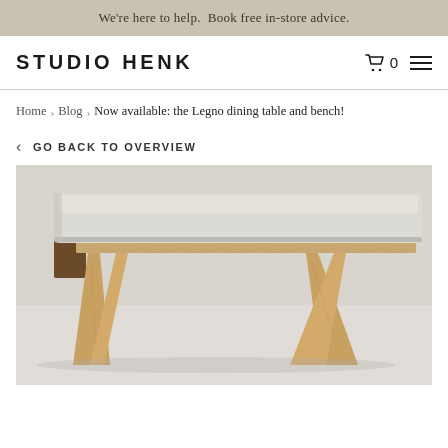We're here to help. Book free in-store advice.
STUDIO HENK
Home > Blog > Now available: the Legno dining table and bench!
< GO BACK TO OVERVIEW
[Figure (photo): Close-up photograph of a wooden bench with angled oak legs and a light grey fabric cushion on top, shot from a low angle on a light grey floor.]